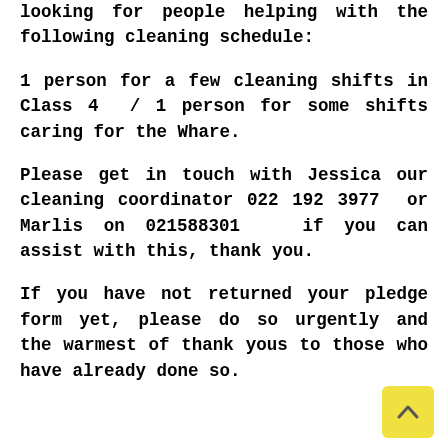looking for people helping with the following cleaning schedule:
1 person for a few cleaning shifts in Class 4  / 1 person for some shifts caring for the Whare.
Please get in touch with Jessica our cleaning coordinator 022 192 3977  or Marlis on 021588301   if you can assist with this, thank you.
If you have not returned your pledge form yet, please do so urgently and the warmest of thank yous to those who have already done so.